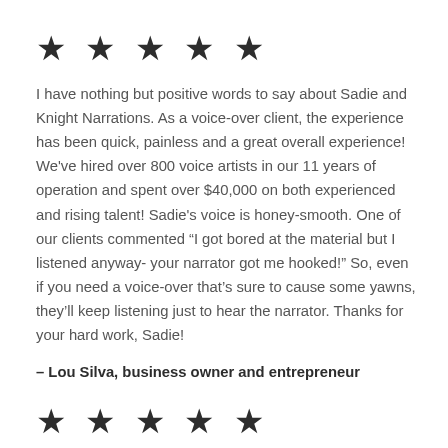[Figure (other): Five black star rating icons]
I have nothing but positive words to say about Sadie and Knight Narrations. As a voice-over client, the experience has been quick, painless and a great overall experience! We've hired over 800 voice artists in our 11 years of operation and spent over $40,000 on both experienced and rising talent! Sadie's voice is honey-smooth. One of our clients commented “I got bored at the material but I listened anyway- your narrator got me hooked!” So, even if you need a voice-over that’s sure to cause some yawns, they’ll keep listening just to hear the narrator. Thanks for your hard work, Sadie!
– Lou Silva, business owner and entrepreneur
[Figure (other): Five black star rating icons]
Sadie and her team are. Best of luck...